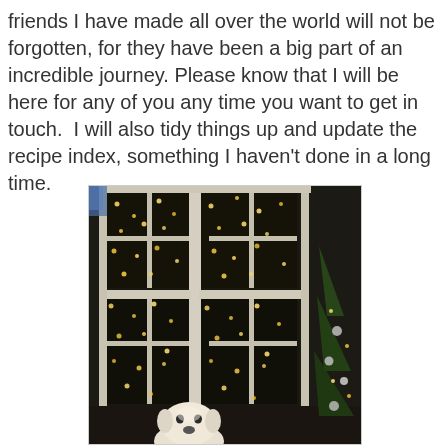friends I have made all over the world will not be forgotten, for they have been a big part of an incredible journey. Please know that I will be here for any of you any time you want to get in touch.  I will also tidy things up and update the recipe index, something I haven't done in a long time.
[Figure (photo): A dimly lit indoor scene showing a white dog (appears to be a Westie or similar breed) looking up near a large multi-pane window. Through the window, a Christmas tree with many small lights is visible outside. A Christmas tree with ornaments is partially visible on the right side inside.]